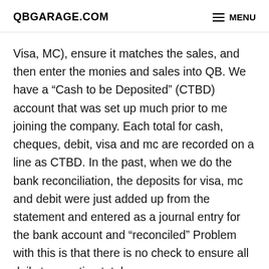QBGARAGE.COM   MENU
Visa, MC), ensure it matches the sales, and then enter the monies and sales into QB. We have a “Cash to be Deposited” (CTBD) account that was set up much prior to me joining the company. Each total for cash, cheques, debit, visa and mc are recorded on a line as CTBD. In the past, when we do the bank reconciliation, the deposits for visa, mc and debit were just added up from the statement and entered as a journal entry for the bank account and “reconciled” Problem with this is that there is no check to ensure all daily transaction totals were received from the company, at both the